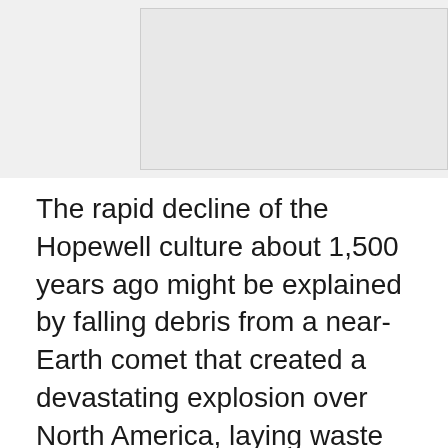[Figure (photo): Partial image visible at top of page, light gray placeholder area with a lighter rectangular region inset]
The rapid decline of the Hopewell culture about 1,500 years ago might be explained by falling debris from a near-Earth comet that created a devastating explosion over North America, laying waste to forests and Native American villages alike. Researchers with the University of Cincinnati found evidence of a cosmic airburst at 11 Hopewell archaeological sites in three states stretching across the Ohio River Valley. This was home to the Ohio Hopewell, part of a notable Native American culture found across